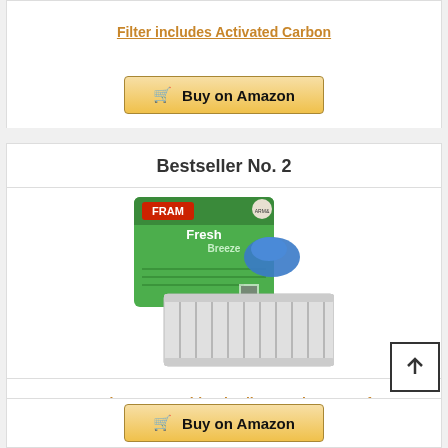Filter includes Activated Carbon
Buy on Amazon
Bestseller No. 2
[Figure (photo): FRAM Fresh Breeze cabin air filter product photo showing green retail box and filter]
FRAM Fresh Breeze Cabin Air Filter Replacement for Car Passenger Compartment w/Arm and Hammer Baking...
Buy on Amazon